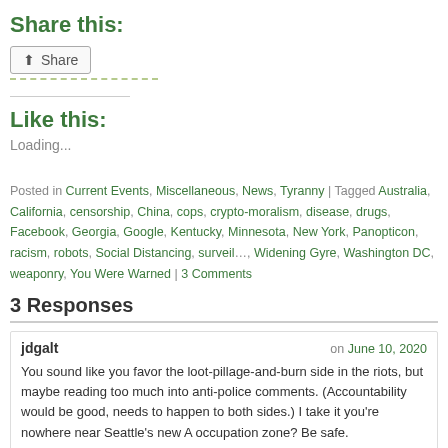Share this:
[Figure (other): Share button with share icon]
Like this:
Loading...
Posted in Current Events, Miscellaneous, News, Tyranny | Tagged Australia, California, censorship, China, cops, crypto-moralism, disease, drugs, Facebook, Georgia, Google, Kentucky, Minnesota, New York, Panopticon, racism, robots, Social Distancing, surveil…, Widening Gyre, Washington DC, weaponry, You Were Warned | 3 Comments
3 Responses
jdgalt
on June 10, 2020
You sound like you favor the loot-pillage-and-burn side in the riots, but maybe reading too much into anti-police comments. (Accountability would be good, needs to happen to both sides.) I take it you're nowhere near Seattle's new A occupation zone? Be safe.
Loading...